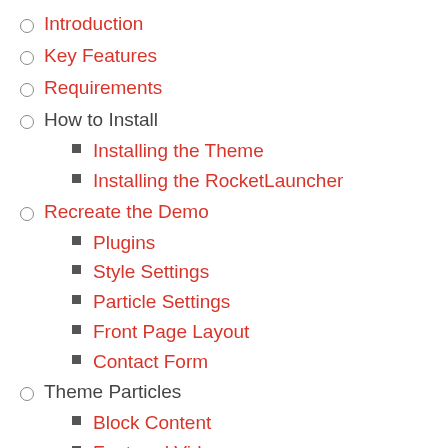Introduction
Key Features
Requirements
How to Install
Installing the Theme
Installing the RocketLauncher
Recreate the Demo
Plugins
Style Settings
Particle Settings
Front Page Layout
Contact Form
Theme Particles
Block Content
Featured Videos
Grid Statistic
Heading